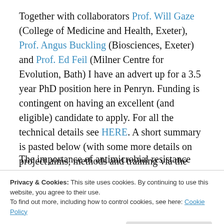Together with collaborators Prof. Will Gaze (College of Medicine and Health, Exeter), Prof. Angus Buckling (Biosciences, Exeter) and Prof. Ed Feil (Milner Centre for Evolution, Bath) I have an advert up for a 3.5 year PhD position here in Penryn. Funding is contingent on having an excellent (and eligible) candidate to apply. For all the technical details see HERE. A short summary is pasted below (with some more details on project aims, methods and training via the link above):
The importance of antimicrobial resistance (AMR)
Privacy & Cookies: This site uses cookies. By continuing to use this website, you agree to their use. To find out more, including how to control cookies, see here: Cookie Policy
AMR. Moreover, largescale mixing of human-associated-